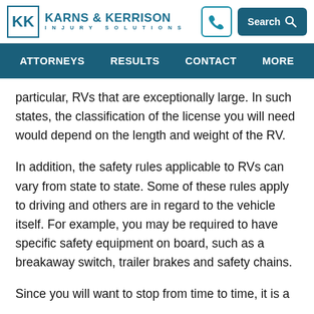Karns & Kerrison Injury Solutions — navigation header with phone and search
particular, RVs that are exceptionally large. In such states, the classification of the license you will need would depend on the length and weight of the RV.
In addition, the safety rules applicable to RVs can vary from state to state. Some of these rules apply to driving and others are in regard to the vehicle itself. For example, you may be required to have specific safety equipment on board, such as a breakaway switch, trailer brakes and safety chains.
Since you will want to stop from time to time, it is a